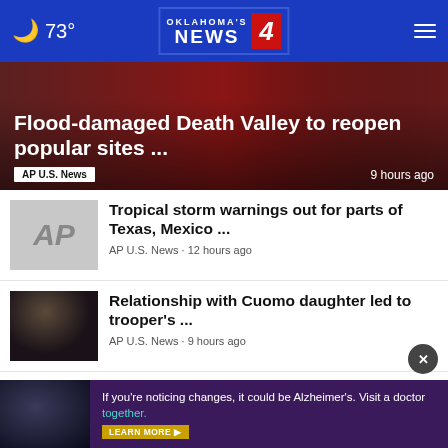73° — Oklahoma's News 4
[Figure (photo): Hero news image with dark red/maroon background for flood story]
Flood-damaged Death Valley to reopen popular sites ...
AP U.S. News • 9 hours ago
[Figure (photo): AP logo placeholder gray box]
Tropical storm warnings out for parts of Texas, Mexico ...
AP U.S. News • 12 hours ago
[Figure (photo): Photo of Cuomo]
Relationship with Cuomo daughter led to trooper's ...
AP U.S. News • 9 hours ago
[Figure (photo): Salmon/wildlife photo]
US protections for Idaho salmon, steelhead are here ...
AP U.S. News • 15 hours ago
[Figure (photo): Partial bottom story image]
If you're noticing changes, it could be Alzheimer's. Visit a doctor together. LEARN MORE